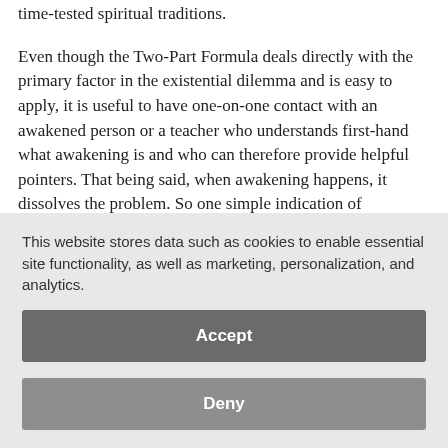time-tested spiritual traditions.
Even though the Two-Part Formula deals directly with the primary factor in the existential dilemma and is easy to apply, it is useful to have one-on-one contact with an awakened person or a teacher who understands first-hand what awakening is and who can therefore provide helpful pointers. That being said, when awakening happens, it dissolves the problem. So one simple indication of awakening is that you no longer need to seek or find anything because the seeker has dissolved away. The majority of authentic dharma teachers should be able to tell you if and if they have had an...
This website stores data such as cookies to enable essential site functionality, as well as marketing, personalization, and analytics.
Accept
Deny